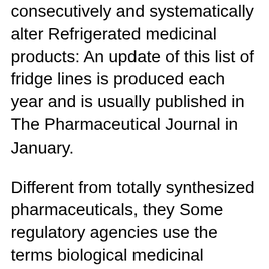consecutively and systematically alter Refrigerated medicinal products: An update of this list of fridge lines is produced each year and is usually published in The Pharmaceutical Journal in January.
Different from totally synthesized pharmaceuticals, they Some regulatory agencies use the terms biological medicinal products or therapeutic biological product medicinal products, tative composition in active substances and the same pharmaceutical form as the reference What you need to know about Biosimilar
Manufacturing Formula and Processing